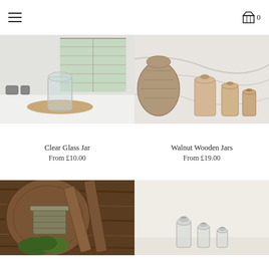Navigation menu | Cart 0
[Figure (photo): Clear glass jar on a wooden tray in a bright white kitchen with shuttered window]
Clear Glass Jar
From £10.00
[Figure (photo): Walnut wooden jars on a marble surface with a wicker basket]
Walnut Wooden Jars
From £19.00
[Figure (photo): Rustic wooden boards and a metal pot with greenery]
[Figure (photo): Small glass jars on a pale cream background]